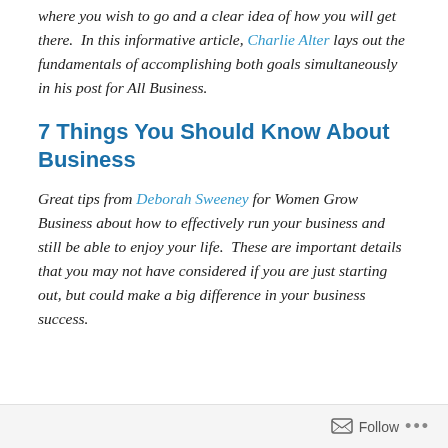where you wish to go and a clear idea of how you will get there.  In this informative article, Charlie Alter lays out the fundamentals of accomplishing both goals simultaneously in his post for All Business.
7 Things You Should Know About Business
Great tips from Deborah Sweeney for Women Grow Business about how to effectively run your business and still be able to enjoy your life.  These are important details that you may not have considered if you are just starting out, but could make a big difference in your business success.
Follow ...